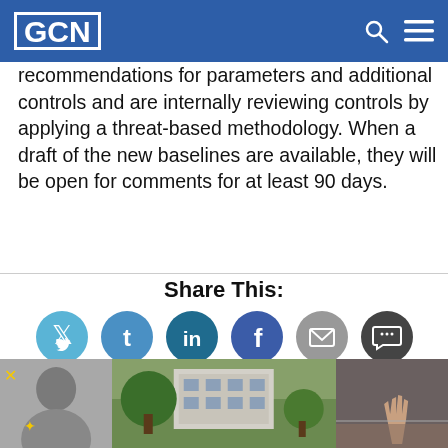GCN
recommendations for parameters and additional controls and are internally reviewing controls by applying a threat-based methodology. When a draft of the new baselines are available, they will be open for comments for at least 90 days.
Share This:
[Figure (infographic): Social sharing icons: Twitter, LinkedIn, Facebook, Email, Comments]
NEXT STORY: Integrating open data, open source, cloud drives efficiency
[Figure (photo): Three thumbnail images at bottom of page: a person smiling (grayscale), a building with trees, and a hand raised]
[Figure (photo): Middle thumbnail: building with green trees]
[Figure (photo): Right thumbnail: hand raised against dark background]